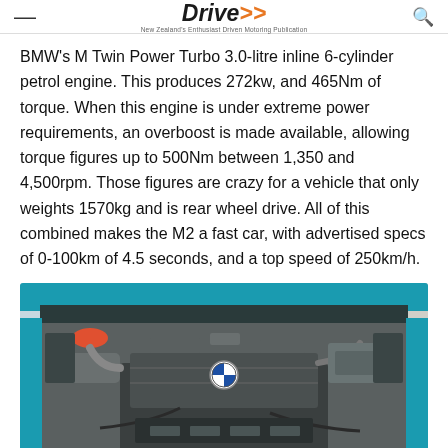Drive — New Zealand's Enthusiast Driven Motoring Publication
BMW's M Twin Power Turbo 3.0-litre inline 6-cylinder petrol engine. This produces 272kw, and 465Nm of torque. When this engine is under extreme power requirements, an overboost is made available, allowing torque figures up to 500Nm between 1,350 and 4,500rpm. Those figures are crazy for a vehicle that only weights 1570kg and is rear wheel drive. All of this combined makes the M2 a fast car, with advertised specs of 0-100km of 4.5 seconds, and a top speed of 250km/h.
[Figure (photo): BMW M2 engine bay showing the M Twin Power Turbo 3.0-litre inline 6-cylinder engine with blue car bodywork visible around it, hood open, grey engine cover with BMW roundel prominent.]